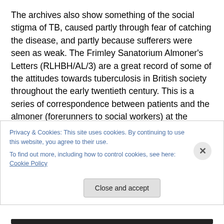The archives also show something of the social stigma of TB, caused partly through fear of catching the disease, and partly because sufferers were seen as weak. The Frimley Sanatorium Almoner's Letters (RLHBH/AL/3) are a great record of some of the attitudes towards tuberculosis in British society throughout the early twentieth century. This is a series of correspondence between patients and the almoner (forerunners to social workers) at the hospital, written in the years following their treatment. They reveal a lot about how the patients progressed; some patients
Privacy & Cookies: This site uses cookies. By continuing to use this website, you agree to their use.
To find out more, including how to control cookies, see here: Cookie Policy
Close and accept